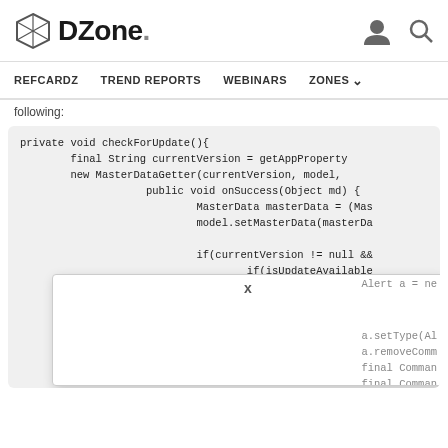DZone. [logo] [user icon] [search icon]
REFCARDZ   TREND REPORTS   WEBINARS   ZONES v
following:
[Figure (screenshot): Code block showing Java method checkForUpdate() with MasterDataGetter, onSuccess, masterData, setMasterData, currentVersion null check, isUpdateAvailable check, and Alert dialog code]
[Figure (screenshot): Autocomplete/tooltip popup overlay showing X close button and code: Alert a = ne..., a.setType(Al..., a.removeComm..., final Comman..., final Comman...]